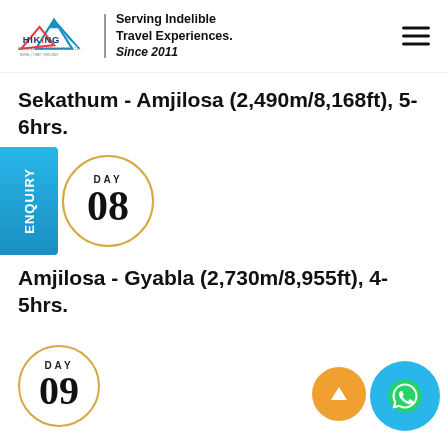Serving Indelible Travel Experiences. Since 2011
Sekathum - Amjilosa (2,490m/8,168ft), 5-6hrs.
[Figure (infographic): Day 08 circle badge with orange border, with Enquiry tab on left side]
Amjilosa - Gyabla (2,730m/8,955ft), 4-5hrs.
[Figure (infographic): Day 09 circle badge with orange border, partially visible at bottom]